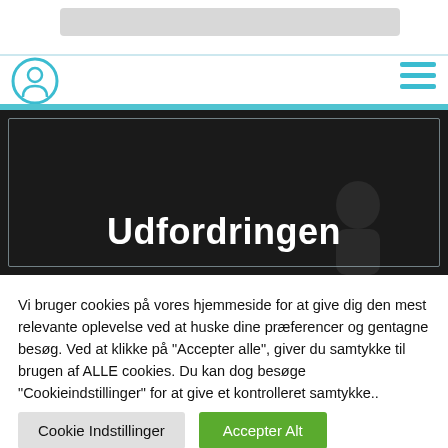[Figure (screenshot): Website header with search bar, logo circle icon (cyan/blue), and hamburger menu icon (cyan lines)]
[Figure (photo): Dark hero image with white outlined rectangle border and large bold white text reading 'Udfordringen']
Vi bruger cookies på vores hjemmeside for at give dig den mest relevante oplevelse ved at huske dine præferencer og gentagne besøg. Ved at klikke på "Accepter alle", giver du samtykke til brugen af ALLE cookies. Du kan dog besøge "Cookieindstillinger" for at give et kontrolleret samtykke..
Cookie Indstillinger
Accepter Alt